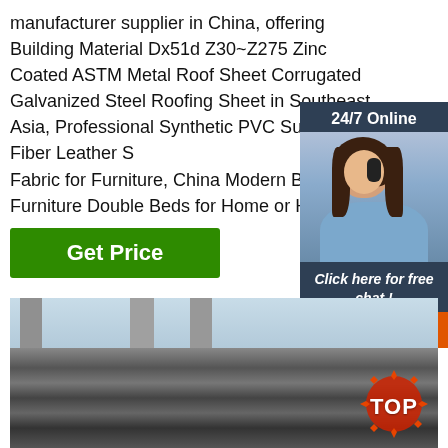manufacturer supplier in China, offering Building Material Dx51d Z30~Z275 Zinc Coated ASTM Metal Roof Sheet Corrugated Galvanized Steel Roofing Sheet in Southeast Asia, Professional Synthetic PVC Superfine Fiber Leather S... Fabric for Furniture, China Modern Bedr... Furniture Double Beds for Home or Hote... so on.
[Figure (screenshot): Green 'Get Price' button]
[Figure (photo): Chat widget overlay with '24/7 Online' header, photo of smiling woman with headset, 'Click here for free chat!' text, and orange 'QUOTATION' button]
[Figure (photo): Photo of stacked steel/metal sheets in industrial setting with bridge structure in background]